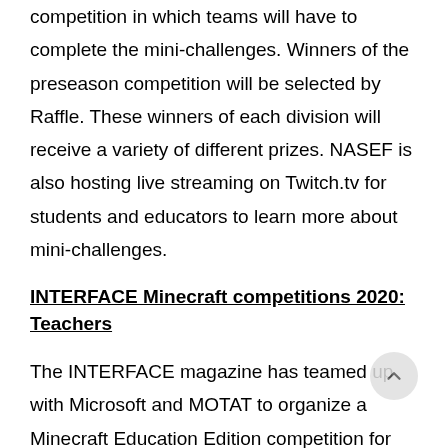competition in which teams will have to complete the mini-challenges. Winners of the preseason competition will be selected by Raffle. These winners of each division will receive a variety of different prizes. NASEF is also hosting live streaming on Twitch.tv for students and educators to learn more about mini-challenges.
INTERFACE Minecraft competitions 2020: Teachers
The INTERFACE magazine has teamed up with Microsoft and MOTAT to organize a Minecraft Education Edition competition for both Teachers and Students. You can participate in the competition if you are a teacher, a student, or a group of class. The competition basically has two categories, one is for Teachers and the second one is for